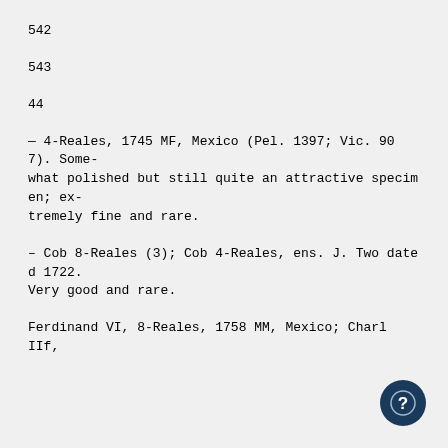542
543
44
— 4-Reales, 1745 MF, Mexico (Pel. 1397; Vic. 907). Somewhat polished but still quite an attractive specimen; extremely fine and rare.
— Cob 8-Reales (3); Cob 4-Reales, ens. J. Two dated 1722. Very good and rare.
Ferdinand VI, 8-Reales, 1758 MM, Mexico; CharI IIf,